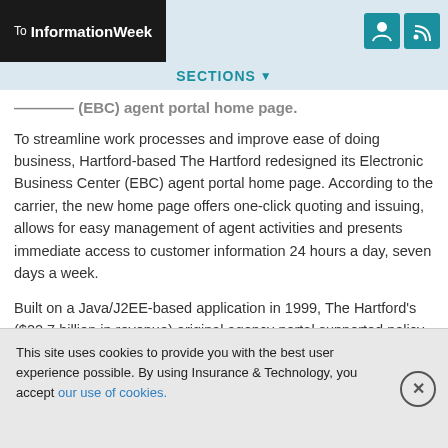To InformationWeek
SECTIONS
Center (EBC) agent portal home page.
To streamline work processes and improve ease of doing business, Hartford-based The Hartford redesigned its Electronic Business Center (EBC) agent portal home page. According to the carrier, the new home page offers one-click quoting and issuing, allows for easy management of agent activities and presents immediate access to customer information 24 hours a day, seven days a week.
Built on a Java/J2EE-based application in 1999, The Hartford's ($22.7 billion in revenue) original agency portal supported policy activities and a paperless workflow, according to Mike Stevens
This site uses cookies to provide you with the best user experience possible. By using Insurance & Technology, you accept our use of cookies.